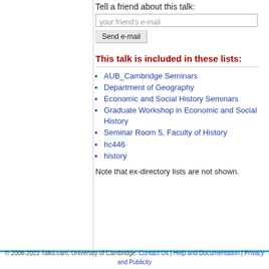Tell a friend about this talk:
your friend's e-mail
Send e-mail
This talk is included in these lists:
AUB_Cambridge Seminars
Department of Geography
Economic and Social History Seminars
Graduate Workshop in Economic and Social History
Seminar Room 5, Faculty of History
hc446
history
Note that ex-directory lists are not shown.
© 2006-2022 Talks.cam, University of Cambridge. Contact Us | Help and Documentation | Privacy and Publicity